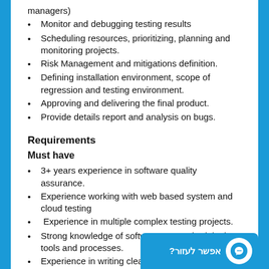managers)
Monitor and debugging testing results
Scheduling resources, prioritizing, planning and monitoring projects.
Risk Management and mitigations definition.
Defining installation environment, scope of regression and testing environment.
Approving and delivering the final product.
Provide details report and analysis on bugs.
Requirements
Must have
3+ years experience in software quality assurance.
Experience working with web based system and cloud testing
Experience in multiple complex testing projects.
Strong knowledge of software QA methodologies, tools and processes.
Experience in writing clear, concise and comprehensive test plans and test cases
Hands-on experience with SQL a…
Experience working in an Agile/S… process